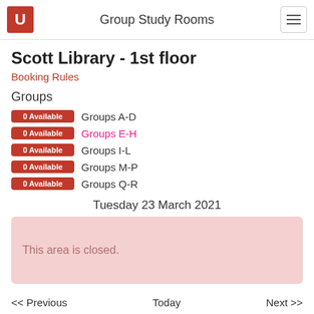Group Study Rooms
Scott Library - 1st floor
Booking Rules
Groups
0 Available  Groups A-D
0 Available  Groups E-H
0 Available  Groups I-L
0 Available  Groups M-P
0 Available  Groups Q-R
Tuesday 23 March 2021
This area is closed.
<< Previous   Today   Next >>